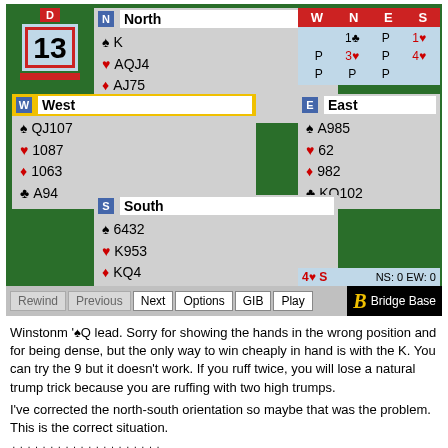[Figure (other): Bridge card game diagram showing North/South/East/West hands with cards, bidding sequence, dealer box showing board 13, and control buttons (Rewind, Previous, Next, Options, GIB, Play) with Bridge Base logo]
Winstonm '♠Q lead. Sorry for showing the hands in the wrong position and for being dense, but the only way to win cheaply in hand is with the K. You can try the 9 but it doesn't work. If you ruff twice, you will lose a natural trump trick because you are ruffing with two high trumps.
I've corrected the north-south orientation so maybe that was the problem. This is the correct situation.
++++++++++++++++++++